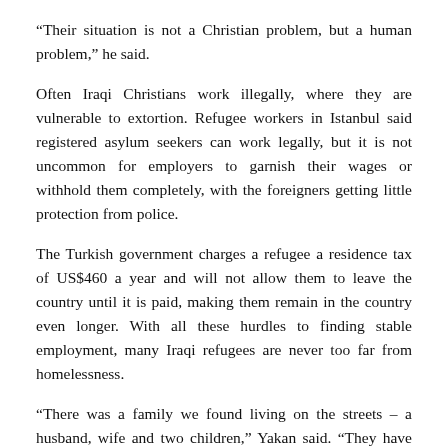“Their situation is not a Christian problem, but a human problem,” he said.
Often Iraqi Christians work illegally, where they are vulnerable to extortion. Refugee workers in Istanbul said registered asylum seekers can work legally, but it is not uncommon for employers to garnish their wages or withhold them completely, with the foreigners getting little protection from police.
The Turkish government charges a refugee a residence tax of US$460 a year and will not allow them to leave the country until it is paid, making them remain in the country even longer. With all these hurdles to finding stable employment, many Iraqi refugees are never too far from homelessness.
“There was a family we found living on the streets – a husband, wife and two children,” Yakan said. “They have lived in Istanbul for six months and couldn’t even afford to pay rent.”